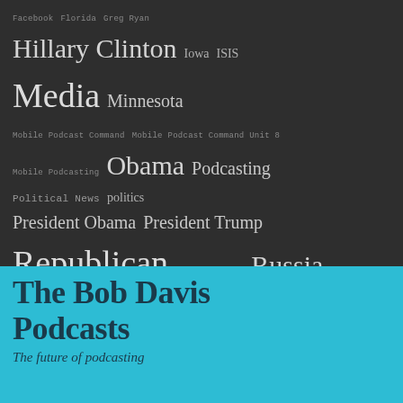[Figure (other): Tag cloud on dark background with various political and media-related tags in different sizes. Tags include: Facebook, Florida, Greg Ryan, Hillary Clinton, Iowa, ISIS, Media, Minnesota, Mobile Podcast Command, Mobile Podcast Command Unit 8, Mobile Podcasting, Obama, Podcasting, Political News, politics, President Obama, President Trump, Republican, Republicans, Russia, Ryan Plumbing, Ryan Plumbing and Heating of Saint Paul, Social Media, talk radio, Tea Party, Technology, Texas, Travel, Twitter, Wisconsin, X Government Cars, X Government Trucks, Yoga]
The Bob Davis Podcasts
The future of podcasting